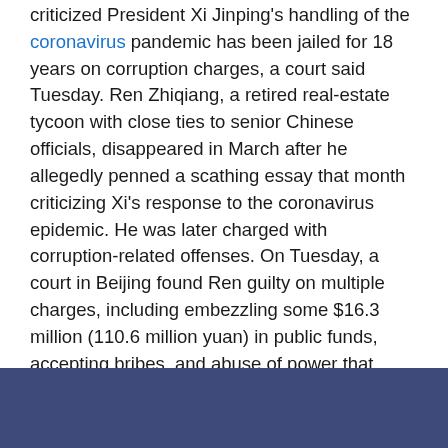criticized President Xi Jinping's handling of the coronavirus pandemic has been jailed for 18 years on corruption charges, a court said Tuesday. Ren Zhiqiang, a retired real-estate tycoon with close ties to senior Chinese officials, disappeared in March after he allegedly penned a scathing essay that month criticizing Xi's response to the coronavirus epidemic. He was later charged with corruption-related offenses. On Tuesday, a court in Beijing found Ren guilty on multiple charges, including embezzling some $16.3 million (110.6 million yuan) in public funds, accepting bribes, and abuse of power that caused losses totaling $17.2 million (116.7 million yuan) for the state-owned property company that he once headed.Judges sentenced him to 18 years in prison and imposed a fine of $620,000 (4.2 million yuan). The court said he “voluntarily confessed all of his crimes” and “was